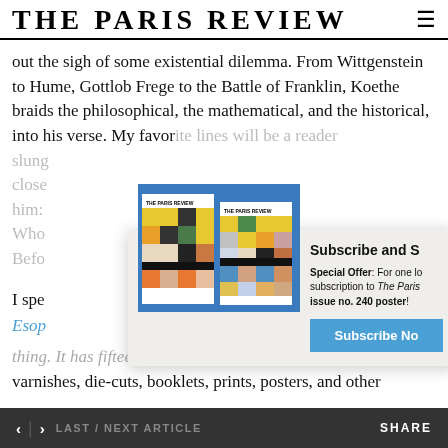THE PARIS REVIEW
out the sigh of some existential dilemma. From Wittgenstein to Hume, Gottlob Frege to the Battle of Franklin, Koethe braids the philosophical, the mathematical, and the historical, into his verse. My favor[ite lines will be a reader of the absolute,] slung [against] close [to] him: [Who] Befo[r]
[Figure (photo): Two copies of The Paris Review issue no. 240 on a blue background, showing colorful geometric grid covers]
Subscribe and S
Special Offer: For one [low price, get a] subscription to The Paris [Review and a free] issue no. 240 poster!
Subscribe No[w]
I spe[nt time with]
Esop[us]
thing. [It has fifteen different paper stocks, metallic inks,] varnishes, die-cuts, booklets, prints, posters, and other
< | > LAST / NEXT ARTICLE    SHARE